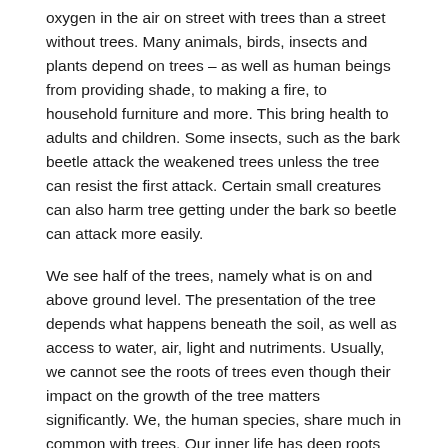oxygen in the air on street with trees than a street without trees. Many animals, birds, insects and plants depend on trees – as well as human beings from providing shade, to making a fire, to household furniture and more. This bring health to adults and children. Some insects, such as the bark beetle attack the weakened trees unless the tree can resist the first attack. Certain small creatures can also harm tree getting under the bark so beetle can attack more easily.
We see half of the trees, namely what is on and above ground level. The presentation of the tree depends what happens beneath the soil, as well as access to water, air, light and nutriments. Usually, we cannot see the roots of trees even though their impact on the growth of the tree matters significantly. We, the human species, share much in common with trees. Our inner life has deep roots with a variety of past experiences, pleasurable and painful, influencing our outlook, our communications and our actions. A depth of inner peace contributes to a network of clear relationships with friendship for the friendly, strangers and unfriendly.
Spreading their roots far, trees form a community, a network, above and below ground.  Like humans, trees play an important in sustaining our ecological system. Trees fulfil their role in the eco-system. Are we fulfilling our role?